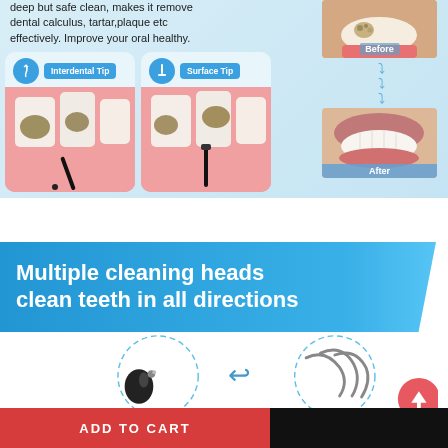[Figure (infographic): Dental cleaning product infographic showing interdental tip and surface tip cleaning teeth with before/after smile comparison. Text reads: 'deep but safe clean, makes it remove dental calculus, tartar, plaque etc effectively. Improve your oral healthy.' Two tip cards with blue circles and labels: 'Interdental Tip' and 'Surface Tip'. Before and after photos of teeth with blue chevron arrows between them.]
deep but safe clean, makes it remove dental calculus, tartar,plaque etc effectively. Improve your oral healthy.
[Figure (infographic): Blue banner with white bold text: 'Multiple cleaning heads clean teeth in all directions']
Multiple cleaning heads clean teeth in all directions
[Figure (illustration): Dental cleaning tool heads shown with dashed circular motion arrows indicating rotation/directions of cleaning heads. Includes a pink circular back button and an up arrow button.]
ADD TO CART